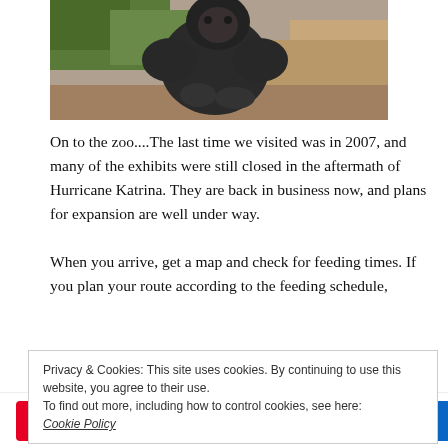[Figure (photo): A gorilla or large primate sitting among rocks and greenery at a zoo]
On to the zoo....The last time we visited was in 2007, and many of the exhibits were still closed in the aftermath of Hurricane Katrina. They are back in business now, and plans for expansion are well under way.

When you arrive, get a map and check for feeding times. If you plan your route according to the feeding schedule,
Privacy & Cookies: This site uses cookies. By continuing to use this website, you agree to their use.
To find out more, including how to control cookies, see here: Cookie Policy
Pinterest 109  Facebook  Twitter  LinkedIn  < 109 SHARES